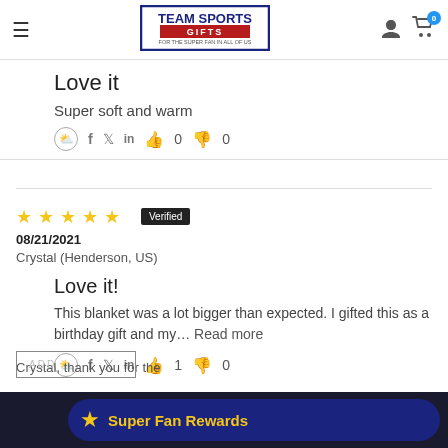[Figure (logo): Team Sports Gifts logo in blue box with red accent]
Love it
Super soft and warm
Social sharing icons: Pinterest, Facebook, Twitter, LinkedIn, Thumbs up 0, Thumbs down 0
[Figure (infographic): Five gold stars rating, Verified badge]
Crystal (Henderson, US) 08/21/2021
Love it!
This blanket was a lot bigger than expected. I gifted this as a birthday gift and my… Read more
Social sharing icons: Pinterest, Facebook, Twitter, LinkedIn, Thumbs up 1, Thumbs down 0
[Figure (infographic): Super Fan Rewards pill button with gold star]